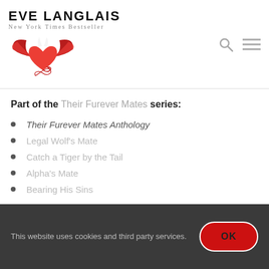EVE LANGLAIS
New York Times Bestseller
Part of the Their Furever Mates series:
Their Furever Mates Anthology
Legal Wolf's Mate
Catch a Tiger by the Tail
Alpha's Mate
Bearing His Sins
This website uses cookies and third party services. OK